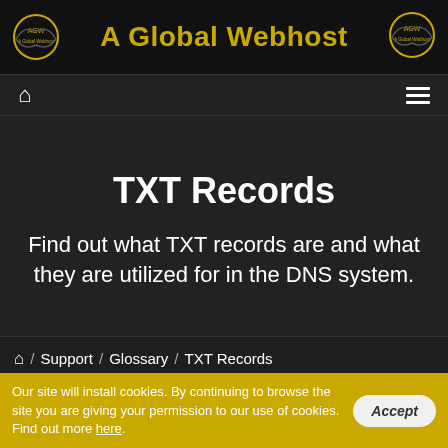A Global Webhost
TXT Records
Find out what TXT records are and what they are utilized for in the DNS system.
Home / Support / Glossary / TXT Records
Our site will install cookies. By continuing to browse the site you are giving your permission to our use of cookies. Find out more here.